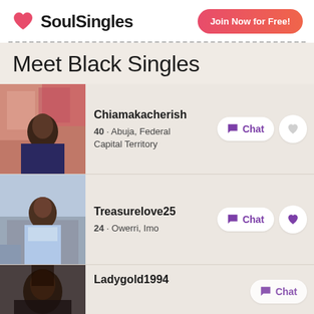[Figure (logo): SoulSingles logo with red heart icon and bold text 'SoulSingles']
Join Now for Free!
Meet Black Singles
[Figure (photo): Profile photo of Chiamakacherish, a woman standing in front of colorful posters]
Chiamakacherish
40 · Abuja, Federal Capital Territory
[Figure (photo): Profile photo of Treasurelove25, a young woman in casual outfit]
Treasurelove25
24 · Owerri, Imo
[Figure (photo): Profile photo of Ladygold1994, partially visible]
Ladygold1994